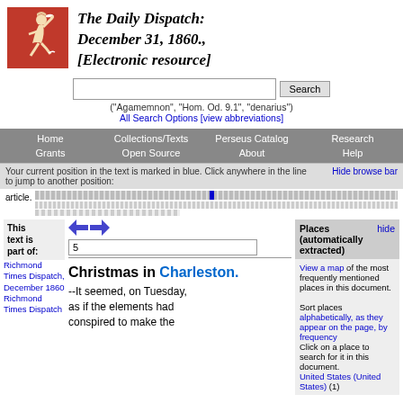The Daily Dispatch: December 31, 1860., [Electronic resource]
[Figure (logo): Perseus Digital Library logo - figure of a running messenger on red background]
("Agamemnon", "Hom. Od. 9.1", "denarius")
All Search Options [view abbreviations]
Home  Collections/Texts  Perseus Catalog  Research  Grants  Open Source  About  Help
Your current position in the text is marked in blue. Click anywhere in the line to jump to another position:
Hide browse bar
[Figure (other): Document position progress bar with blue highlight marker showing current position in article]
This text is part of:
Richmond Times Dispatch, December 1860
Richmond Times Dispatch
5
Christmas in Charleston.
--It seemed, on Tuesday, as if the elements had conspired to make the
Places (automatically extracted)
hide
View a map of the most frequently mentioned places in this document.
Sort places alphabetically, as they appear on the page, by frequency
Click on a place to search for it in this document.
United States (United States) (1)